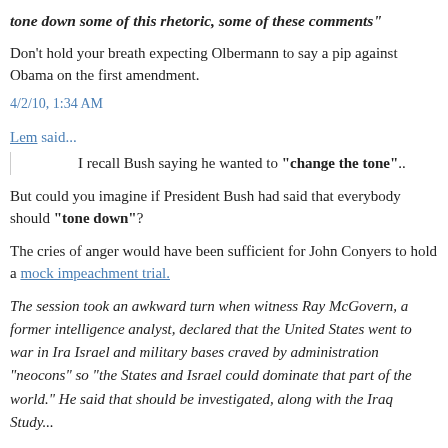tone down some of this rhetoric, some of these comments"
Don't hold your breath expecting Olbermann to say a pip against Obama on the first amendment.
4/2/10, 1:34 AM
Lem said...
I recall Bush saying he wanted to "change the tone"..
But could you imagine if President Bush had said that everybody should "tone down"?
The cries of anger would have been sufficient for John Conyers to hold a mock impeachment trial.
The session took an awkward turn when witness Ray McGovern, a former intelligence analyst, declared that the United States went to war in Iraq for Israel and military bases craved by administration "neocons" so "the United States and Israel could dominate that part of the world." He said that should be investigated, along with the Iraq Study Group's conclusion...